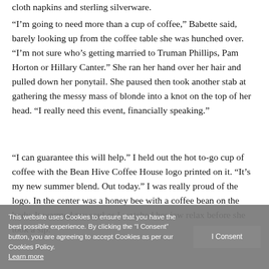cloth napkins and sterling silverware.
“I’m going to need more than a cup of coffee,” Babette said, barely looking up from the coffee table she was hunched over. “I’m not sure who’s getting married to Truman Phillips, Pam Horton or Hillary Canter.” She ran her hand over her hair and pulled down her ponytail. She paused then took another stab at gathering the messy mass of blonde into a knot on the top of her head. “I really need this event, financially speaking.”
“I can guarantee this will help.” I held out the hot to-go cup of coffee with the Bean Hive Coffee House logo printed on it. “It’s my new summer blend. Out today.” I was really proud of the logo. In the center was a honey bee with a coffee bean on the body. It warmed my soul as I watched her jaw relax before she took a sip.
This website uses Cookies to ensure that you have the best possible experience. By clicking the “I Consent” button, you are agreeing to accept Cookies as per our Cookies Policy. Learn more